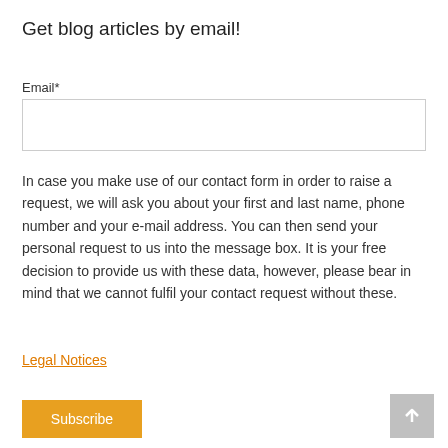Get blog articles by email!
Email*
In case you make use of our contact form in order to raise a request, we will ask you about your first and last name, phone number and your e-mail address. You can then send your personal request to us into the message box. It is your free decision to provide us with these data, however, please bear in mind that we cannot fulfil your contact request without these.
Legal Notices
[Figure (other): reCAPTCHA widget with blue background showing 'protected by reCAPTCHA', Privacy and Terms links, and the reCAPTCHA logo (recycling arrows icon in blue and grey)]
Subscribe